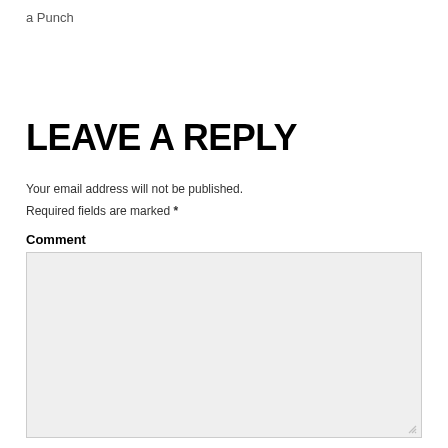a Punch
LEAVE A REPLY
Your email address will not be published.
Required fields are marked *
Comment